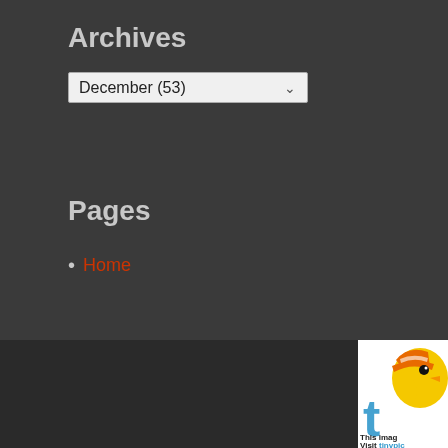Archives
December (53)
Pages
Home
[Figure (illustration): Partial view of Tinypic mascot (animated bird character in yellow with orange hat) and Tinypic logo letter 't' in blue, with text 'This imag... Visit tinypic...' partially visible]